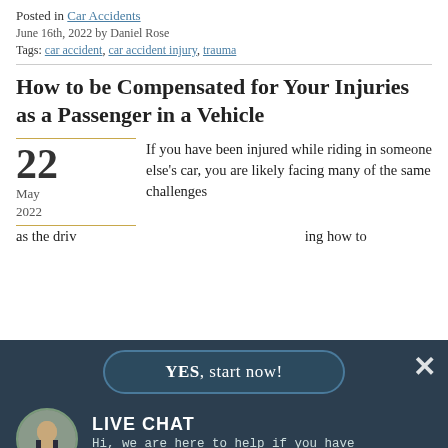Posted in Car Accidents
June 16th, 2022 by Daniel Rose
Tags: car accident, car accident injury, trauma
How to be Compensated for Your Injuries as a Passenger in a Vehicle
22 May 2022 — If you have been injured while riding in someone else's car, you are likely facing many of the same challenges as the driv... ing how to
[Figure (screenshot): Live chat widget overlay with 'YES, start now!' button and live chat panel showing agent photo and text 'LIVE CHAT - Hi, we are here to help if you have questions.']